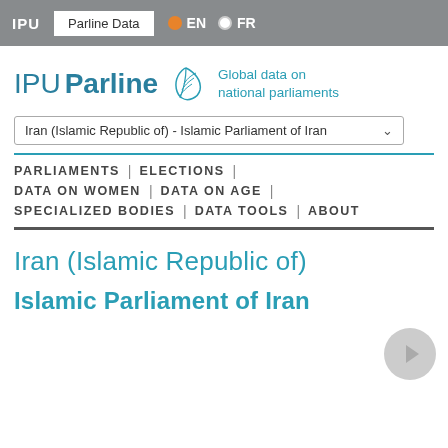IPU  Parline Data  EN  FR
[Figure (logo): IPU Parline logo with laurel leaf SVG and tagline 'Global data on national parliaments']
Iran (Islamic Republic of) - Islamic Parliament of Iran
PARLIAMENTS | ELECTIONS | DATA ON WOMEN | DATA ON AGE | SPECIALIZED BODIES | DATA TOOLS | ABOUT
Iran (Islamic Republic of)
Islamic Parliament of Iran